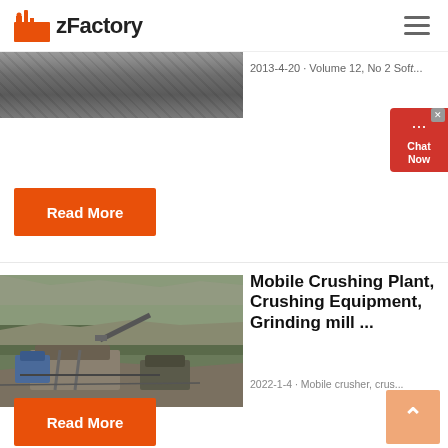zFactory
[Figure (photo): Aerial/ground view of rocky terrain or quarry surface, grayscale-brown tones]
2013-4-20 · Volume 12, No 2 Soft...
[Figure (other): Chat Now widget button]
Read More
[Figure (photo): Aerial view of a mobile crushing plant and mining equipment at a quarry site]
Mobile Crushing Plant, Crushing Equipment, Grinding mill ...
2022-1-4 · Mobile crusher, crus...
Read More